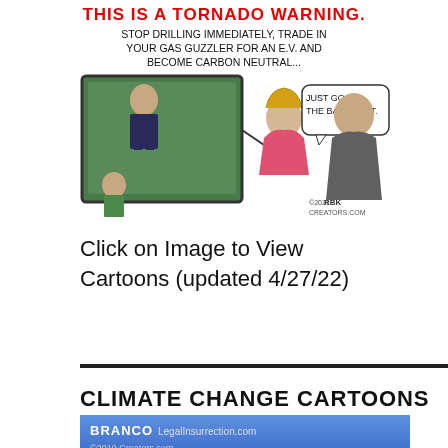[Figure (illustration): Political cartoon showing a TV screen with text 'THIS IS A TORNADO WARNING. STOP DRILLING IMMEDIATELY, TRADE IN YOUR GAS GUZZLER FOR AN E.V. AND BECOME CARBON NEUTRAL...' with a woman at a podium, a man saying 'JUST GO TO THE BASEMENT.' and a child nearby. Copyright 2021 creators.com.]
Click on Image to View Cartoons (updated 4/27/22)
CLIMATE CHANGE CARTOONS
[Figure (illustration): Partial view of a blue-background cartoon with 'BRANCO LegalInsurrection.com ©2019 Creators.com' text visible at top.]